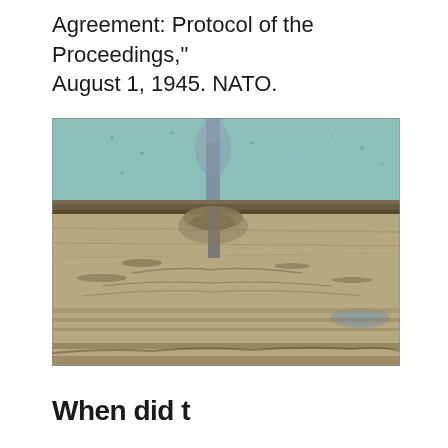Agreement: Protocol of the Proceedings," August 1, 1945. NATO.
[Figure (photo): Photograph of a waterspout or tornado-like phenomenon near a wall or structure, showing disturbed ground and debris at the base, with a teal/blue painted surface visible at the top.]
When didترین